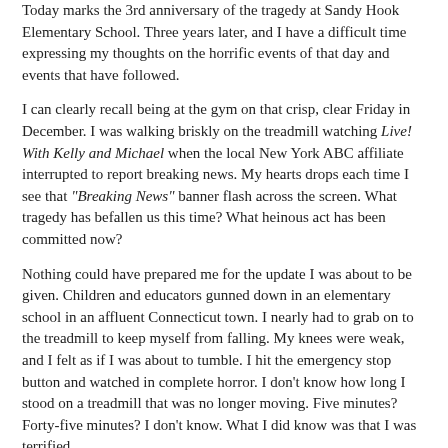Today marks the 3rd anniversary of the tragedy at Sandy Hook Elementary School. Three years later, and I have a difficult time expressing my thoughts on the horrific events of that day and events that have followed.
I can clearly recall being at the gym on that crisp, clear Friday in December. I was walking briskly on the treadmill watching Live! With Kelly and Michael when the local New York ABC affiliate interrupted to report breaking news. My hearts drops each time I see that "Breaking News" banner flash across the screen. What tragedy has befallen us this time? What heinous act has been committed now?
Nothing could have prepared me for the update I was about to be given. Children and educators gunned down in an elementary school in an affluent Connecticut town. I nearly had to grab on to the treadmill to keep myself from falling. My knees were weak, and I felt as if I was about to tumble. I hit the emergency stop button and watched in complete horror. I don't know how long I stood on a treadmill that was no longer moving. Five minutes? Forty-five minutes? I don't know. What I did know was that I was terrified.